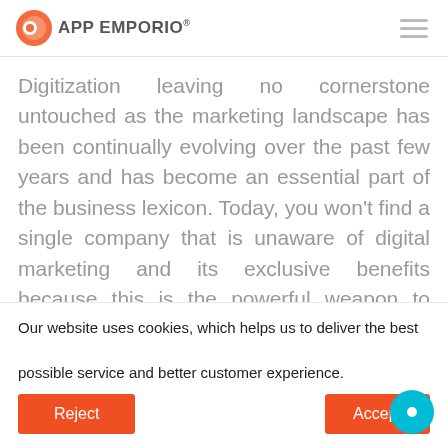APP EMPORIO®
Digitization leaving no cornerstone untouched as the marketing landscape has been continually evolving over the past few years and has become an essential part of the business lexicon. Today, you won't find a single company that is unaware of digital marketing and its exclusive benefits because this is the powerful weapon to survive. If you are a novice digital marketer or a veteran marketer, you know how it
Our website uses cookies, which helps us to deliver the best possible service and better customer experience.